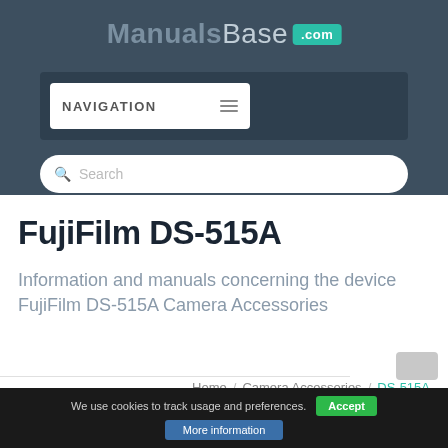[Figure (screenshot): ManualsBase.com website header with dark blue-grey background, logo, navigation bar, and search field]
FujiFilm DS-515A
Information and manuals concerning the device FujiFilm DS-515A Camera Accessories
Home / Camera Accessories / DS-515A
We use cookies to track usage and preferences. Accept More information